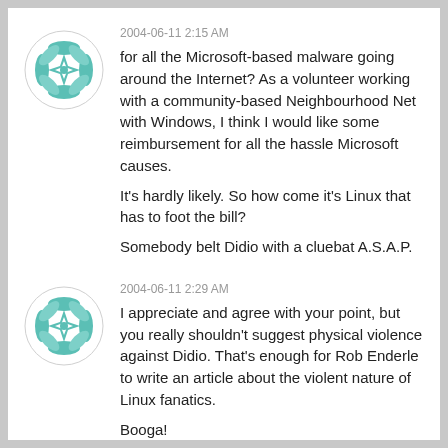[Figure (illustration): Teal geometric flower/star pattern avatar icon in a circle]
2004-06-11 2:15 AM
for all the Microsoft-based malware going around the Internet? As a volunteer working with a community-based Neighbourhood Net with Windows, I think I would like some reimbursement for all the hassle Microsoft causes.

It's hardly likely. So how come it's Linux that has to foot the bill?

Somebody belt Didio with a cluebat A.S.A.P.
[Figure (illustration): Teal geometric flower/star pattern avatar icon in a circle]
2004-06-11 2:29 AM
I appreciate and agree with your point, but you really shouldn't suggest physical violence against Didio. That's enough for Rob Enderle to write an article about the violent nature of Linux fanatics.

Booga!